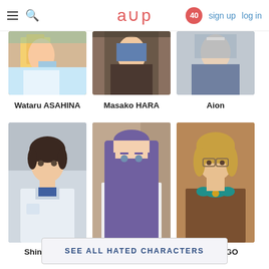≡ 🔍  a∪p  40  sign up  log in
[Figure (photo): Cropped anime character image - Wataru ASAHINA, colorful outfit]
[Figure (photo): Cropped anime character image - Masako HARA, brown outfit]
[Figure (photo): Cropped anime character image - Aion, grey outfit]
Wataru ASAHINA
Masako HARA
Aion
[Figure (photo): Anime character Shinji IKARI, boy with dark hair in white shirt]
[Figure (photo): Anime character Azuma YUNOKI, girl with purple hair in white jacket]
[Figure (photo): Anime character Yui HONGO, girl with blonde hair in brown jacket]
Shinji IKARI
Azuma YUNOKI
Yui HONGO
SEE ALL HATED CHARACTERS